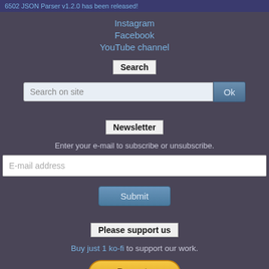6502 JSON Parser v1.2.0 has been released!
Instagram
Facebook
YouTube channel
Search
Search on site  Ok
Newsletter
Enter your e-mail to subscribe or unsubscribe.
E-mail address
Submit
Please support us
Buy just 1 ko-fi to support our work.
[Figure (other): PayPal Donate button - orange rounded button with italic bold text 'Donate']
Any amounts raised will directly support the development of our current projects, including our open source libraries.